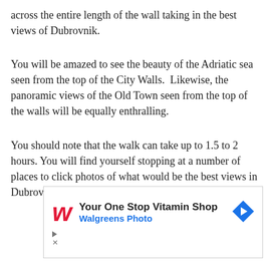across the entire length of the wall taking in the best views of Dubrovnik.
You will be amazed to see the beauty of the Adriatic sea seen from the top of the City Walls.  Likewise, the panoramic views of the Old Town seen from the top of the walls will be equally enthralling.
You should note that the walk can take up to 1.5 to 2 hours. You will find yourself stopping at a number of places to click photos of what would be the best views in Dubrovnik.
[Figure (other): Advertisement for Walgreens Photo: 'Your One Stop Vitamin Shop' with Walgreens cursive W logo in red, blue arrow icon, and Walgreens Photo subtitle in blue. Ad close/skip controls at bottom left.]